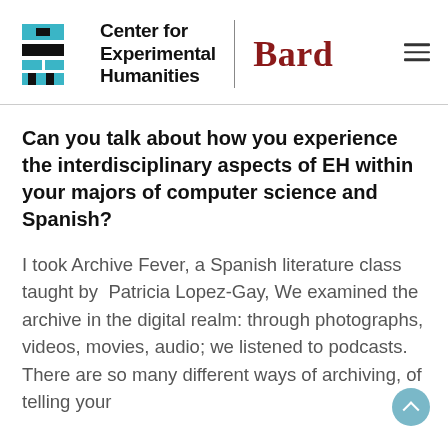[Figure (logo): Center for Experimental Humanities | Bard logo with teal/black geometric icon on left, bold black text 'Center for Experimental Humanities', vertical divider, and 'Bard' in dark red serif font on right]
Can you talk about how you experience the interdisciplinary aspects of EH within your majors of computer science and Spanish?
I took Archive Fever, a Spanish literature class taught by Patricia Lopez-Gay, We examined the archive in the digital realm: through photographs, videos, movies, audio; we listened to podcasts. There are so many different ways of archiving, of telling your